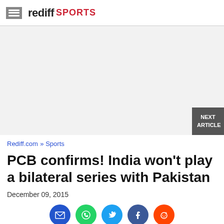rediff SPORTS
[Figure (other): Advertisement placeholder area with light gray background]
Rediff.com » Sports
PCB confirms! India won't play a bilateral series with Pakistan
December 09, 2015
[Figure (infographic): Social sharing icons: Email (blue circle), WhatsApp (green circle), Twitter (blue circle), Facebook (dark blue circle), Reddit (orange-red circle)]